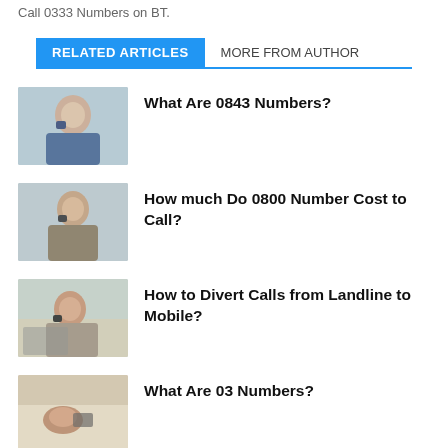Call 0333 Numbers on BT.
RELATED ARTICLES
MORE FROM AUTHOR
[Figure (photo): Woman smiling while talking on a mobile phone, office background]
What Are 0843 Numbers?
[Figure (photo): Woman smiling while talking on a mobile phone, indoor background]
How much Do 0800 Number Cost to Call?
[Figure (photo): Woman talking on phone while sitting on couch with laptop]
How to Divert Calls from Landline to Mobile?
[Figure (photo): Person lying in bed looking at phone]
What Are 03 Numbers?